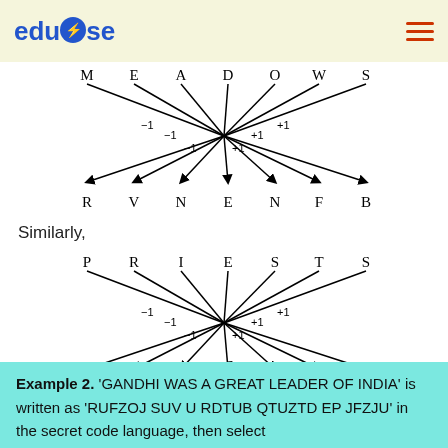edudose
[Figure (schematic): Diagram showing letter encoding: MEADOWS mapped to RVNENFB with arrows labeled -1, -1, -1, +1, +1, +1 from a central node]
Similarly,
[Figure (schematic): Diagram showing letter encoding: PRIESTS mapped to RSRFQSJ with arrows labeled -1, -1, -1, +1, +1, +1 from a central node]
Example 2. ‘GANDHI WAS A GREAT LEADER OF INDIA’ is written as ‘RUFZOJ SUV U RDTUB QTUZTD EP JFZJU’ in the secret code language, then select